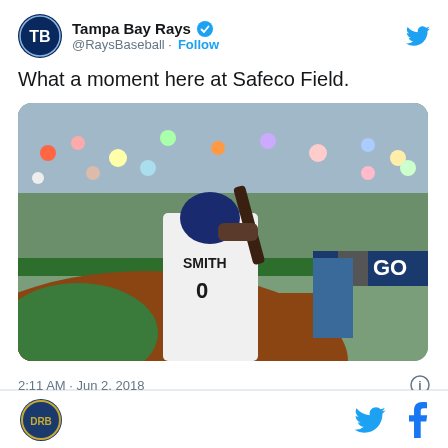[Figure (screenshot): Tweet from @RaysBaseball (Tampa Bay Rays) with verified badge. Text: 'What a moment here at Safeco Field.' Photo shows baseball player wearing SMITH #0 jersey holding a bat at Safeco Field, with crowd in background. Timestamp: 2:11 AM · Jun 2, 2018.]
[Figure (logo): DRB circular logo at bottom left]
[Figure (logo): Twitter bird icon and Facebook f icon at bottom right]